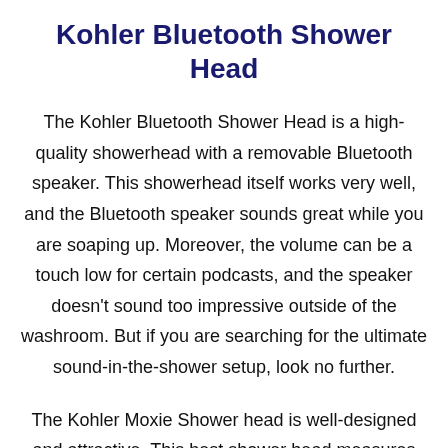Kohler Bluetooth Shower Head
The Kohler Bluetooth Shower Head is a high-quality showerhead with a removable Bluetooth speaker. This showerhead itself works very well, and the Bluetooth speaker sounds great while you are soaping up. Moreover, the volume can be a touch low for certain podcasts, and the speaker doesn't sound too impressive outside of the washroom. But if you are searching for the ultimate sound-in-the-shower setup, look no further.
The Kohler Moxie Shower head is well-designed and attractive. This best shower head measures 4.18 by 5 inches (HW) and comes in either a white or polished chrome finish. The one feature of the showerhead...